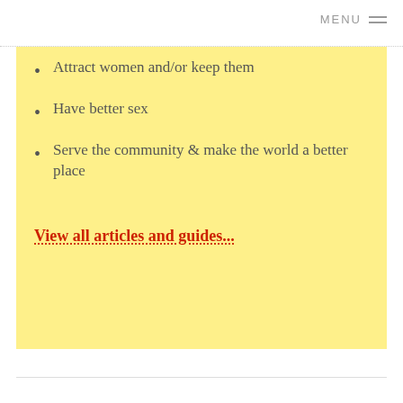MENU
Attract women and/or keep them
Have better sex
Serve the community & make the world a better place
View all articles and guides...